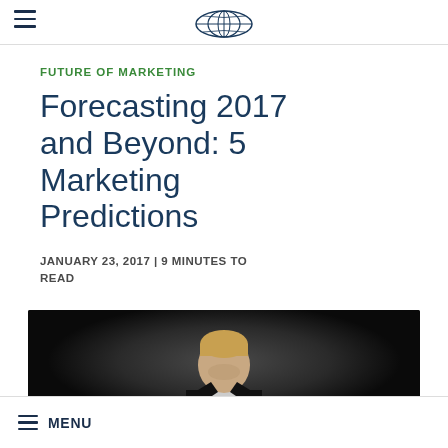WSI (logo) — navigation header with hamburger menu
FUTURE OF MARKETING
Forecasting 2017 and Beyond: 5 Marketing Predictions
JANUARY 23, 2017 | 9 MINUTES TO READ
[Figure (photo): Man in dark suit with blond hair, head slightly bowed, dark dramatic background]
MENU